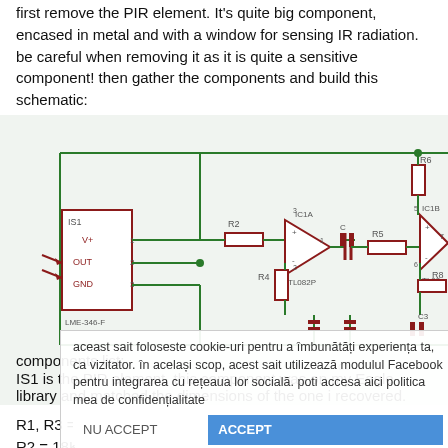first remove the PIR element. It's quite big component, encased in metal and with a window for sensing IR radiation. be careful when removing it as it is quite a sensitive component! then gather the components and build this schematic:
[Figure (circuit-diagram): Electronic circuit schematic showing PIR sensor IS1 (LME-346-F) connected to op-amp IC1A (TL082P) and IC1B (TL08x), with resistors R2, R4, R5, R6, R8, R10, capacitors C1, C3, and other components connected via green wires on white/light blue background.]
aceast sait foloseste cookie-uri pentru a îmbunătăți experiența ta, ca vizitator. în același scop, acest sait utilizează modulul Facebook pentru integrarea cu rețeaua lor socială. poti accesa aici politica mea de confidențialitate
components list:
IS1 is the PIR element. this component was on my Eagle library and matched the dimensions of the one i recovered.
R1, R3 = 47K
R2 = 18K
R4, R8 = 1M